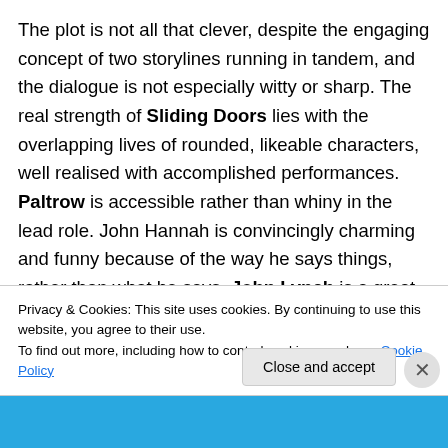The plot is not all that clever, despite the engaging concept of two storylines running in tandem, and the dialogue is not especially witty or sharp. The real strength of Sliding Doors lies with the overlapping lives of rounded, likeable characters, well realised with accomplished performances. Paltrow is accessible rather than whiny in the lead role. John Hannah is convincingly charming and funny because of the way he says things, rather than what he says. John Lynch is a great actor, as he proves in the upcoming Ghosted, and he doesn't come off badly here despite playing the cheating Gerry, who is
Privacy & Cookies: This site uses cookies. By continuing to use this website, you agree to their use.
To find out more, including how to control cookies, see here: Cookie Policy